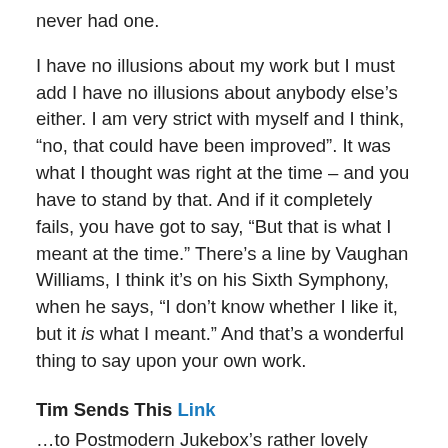never had one.
I have no illusions about my work but I must add I have no illusions about anybody else's either. I am very strict with myself and I think, “no, that could have been improved”. It was what I thought was right at the time – and you have to stand by that. And if it completely fails, you have got to say, “But that is what I meant at the time.” There’s a line by Vaughan Williams, I think it’s on his Sixth Symphony, when he says, “I don’t know whether I like it, but it is what I meant.” And that’s a wonderful thing to say upon your own work.
Tim Sends This Link
…to Postmodern Jukebox’s rather lovely twenties-styled version of “Sweet Child O’ Mine”, perhaps inspired by Bryan Ferry’s take on his back catalogue. “My goal with Postmodern Jukebox is to get my audience to think